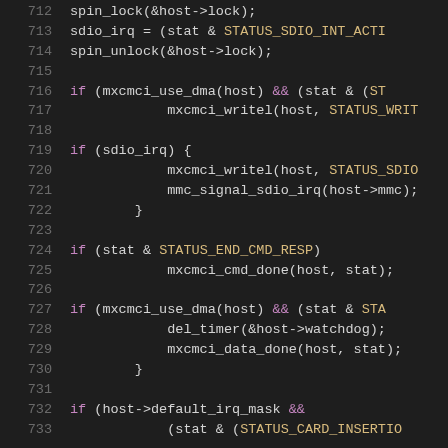[Figure (screenshot): Source code viewer showing C code lines 712–733, dark theme editor with line numbers in gray, keywords in purple, macro constants in gold/yellow, and regular code in light gray/white.]